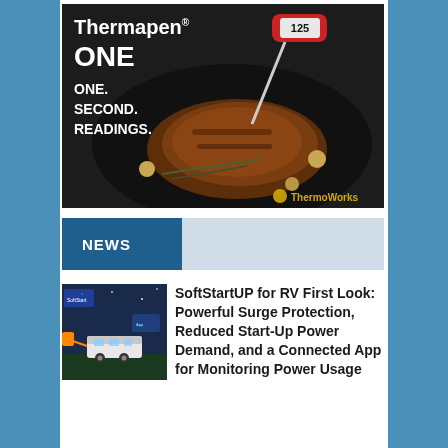[Figure (photo): Thermapen ONE advertisement showing a red digital thermometer reading 125 inserted into a seared steak in a cast iron pan with rosemary. Text overlay: 'Thermapen ONE. ONE. SECOND. READINGS.' ThermoWorks logo bottom right.]
NEWS
[Figure (photo): SoftStartUP for RV product image showing an RV trailer with electrical connection diagram and app interface]
SoftStartUP for RV First Look: Powerful Surge Protection, Reduced Start-Up Power Demand, and a Connected App for Monitoring Power Usage